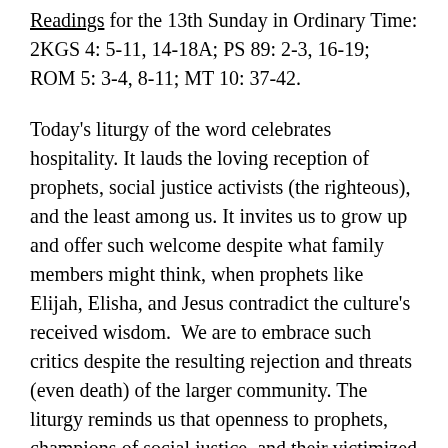Readings for the 13th Sunday in Ordinary Time: 2KGS 4: 5-11, 14-18A; PS 89: 2-3, 16-19; ROM 5: 3-4, 8-11; MT 10: 37-42.
Today's liturgy of the word celebrates hospitality. It lauds the loving reception of prophets, social justice activists (the righteous), and the least among us. It invites us to grow up and offer such welcome despite what family members might think, when prophets like Elijah, Elisha, and Jesus contradict the culture's received wisdom.  We are to embrace such critics despite the resulting rejection and threats (even death) of the larger community. The liturgy reminds us that openness to prophets, champions of social justice, and their victimized protégées imitates the generosity of Jesus and God himself.
Reflections like these prove especially apt on this Fourth of July weekend, at a time when our national